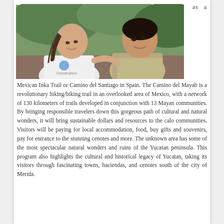as a
[Figure (photo): A young woman with braided hair wearing a white t-shirt with a Globetrotters logo smiling and interacting with a young child who is looking up at her, outdoors near a tree.]
Mexican Inka Trail or Camino del Santiago in Spain. The Camino del Mayab is a revolutionary hiking/biking trail in an overlooked area of Mexico, with a network of 130 kilometers of trails developed in conjunction with 13 Mayan communities. By bringing responsible travelers down this gorgeous path of cultural and natural wonders, it will bring sustainable dollars and resources to the calo communities. Visitors will be paying for local accommodation, food, buy gifts and souvenirs, pay for entrance to the stunning cenotes and more. The unknown area has some of the most spectacular natural wonders and ruins of the Yucatan peninsula. This program also highlights the cultural and historical legacy of Yucatan, taking its visitors through fascinating towns, haciendas, and cenotes south of the city of Merida.